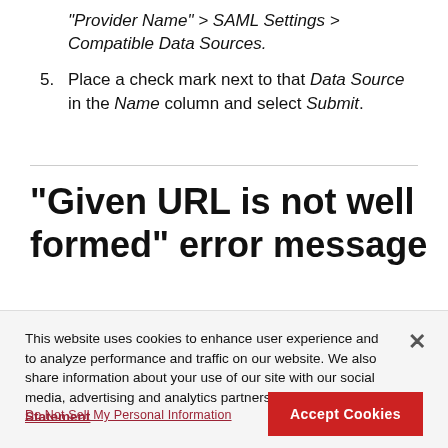"Provider Name" > SAML Settings > Compatible Data Sources.
5. Place a check mark next to that Data Source in the Name column and select Submit.
"Given URL is not well formed" error message
This website uses cookies to enhance user experience and to analyze performance and traffic on our website. We also share information about your use of our site with our social media, advertising and analytics partners. Cookie Statement
Do Not Sell My Personal Information
Accept Cookies